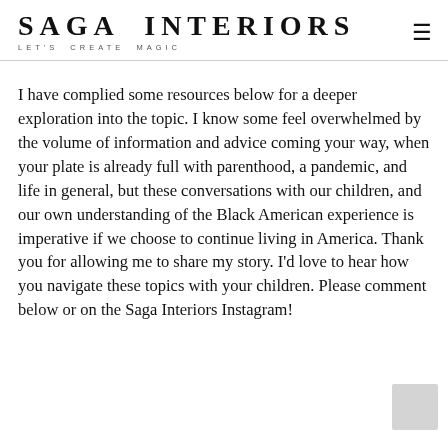SAGA INTERIORS — LET'S CREATE MAGIC
I have complied some resources below for a deeper exploration into the topic. I know some feel overwhelmed by the volume of information and advice coming your way, when your plate is already full with parenthood, a pandemic, and life in general, but these conversations with our children, and our own understanding of the Black American experience is imperative if we choose to continue living in America. Thank you for allowing me to share my story. I'd love to hear how you navigate these topics with your children. Please comment below or on the Saga Interiors Instagram!